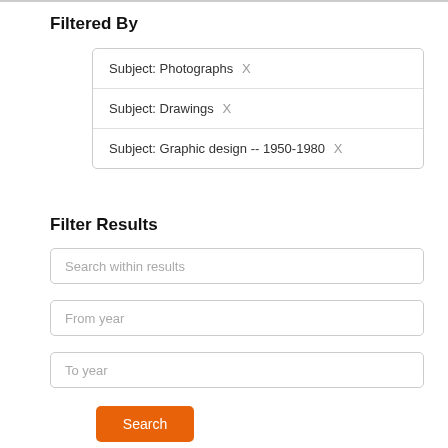Filtered By
Subject: Photographs X
Subject: Drawings X
Subject: Graphic design -- 1950-1980 X
Filter Results
Search within results
From year
To year
Search